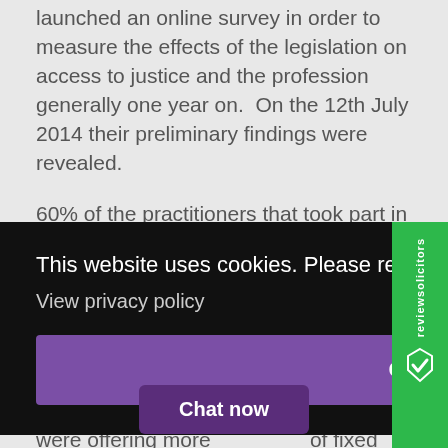launched an online survey in order to measure the effects of the legislation on access to justice and the profession generally one year on.  On the 12th July 2014 their preliminary findings were revealed.
60% of the practitioners that took part in the
This website uses cookies. Please refer to our privacy policy for more information. View privacy policy
Got it!
Chat now